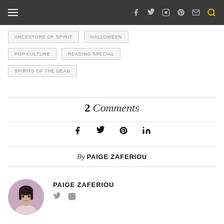Navigation bar with hamburger menu and social icons
ANCESTORS OF SPIRIT
HALLOWEEN
POP CULTURE
READING SPECIAL
SPIRITS OF THE DEAD
2 Comments
[Figure (infographic): Social share icons: Facebook, Twitter, Pinterest, LinkedIn]
By PAIGE ZAFERIOU
[Figure (photo): Circular avatar photo of Paige Zaferiou]
PAIGE ZAFERIOU
[Figure (infographic): Author social icons: Twitter, Instagram]